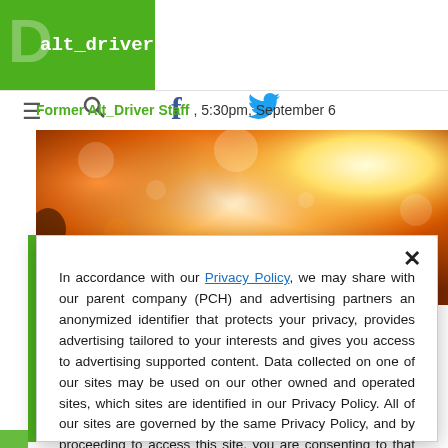alt_driver
Former Alt_Driver Staff , 5:30pm, September 6
[Figure (photo): Orange and bright bokeh background image, partially visible behind modal overlay]
In accordance with our Privacy Policy, we may share with our parent company (PCH) and advertising partners an anonymized identifier that protects your privacy, provides advertising tailored to your interests and gives you access to advertising supported content. Data collected on one of our sites may be used on our other owned and operated sites, which sites are identified in our Privacy Policy. All of our sites are governed by the same Privacy Policy, and by proceeding to access this site, you are consenting to that Privacy Policy.